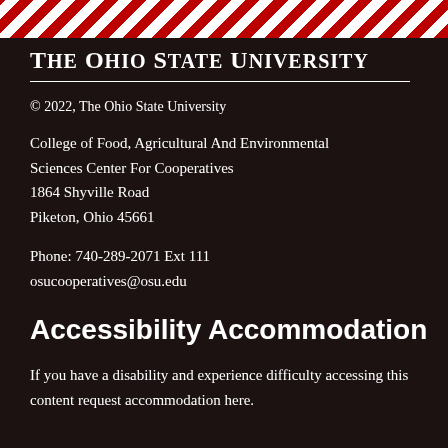[Figure (illustration): Diagonal red and white stripe banner at the top of the page]
The Ohio State University
© 2022, The Ohio State University
College of Food, Agricultural And Environmental Sciences Center For Cooperatives
1864 Shyville Road
Piketon, Ohio 45661
Phone: 740-289-2071 Ext 111
osucooperatives@osu.edu
Accessibility Accommodation
If you have a disability and experience difficulty accessing this content request accommodation here.